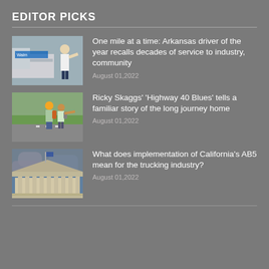EDITOR PICKS
[Figure (photo): A man in a white shirt standing next to a truck, appears to be a Walmart truck driver]
One mile at a time: Arkansas driver of the year recalls decades of service to industry, community
August 01,2022
[Figure (photo): Two people hitchhiking on a highway road, one wearing an orange helmet]
Ricky Skaggs' 'Highway 40 Blues' tells a familiar story of the long journey home
August 01,2022
[Figure (photo): A government building with columns, resembling the Supreme Court, under dramatic cloudy skies]
What does implementation of California's AB5 mean for the trucking industry?
August 01,2022